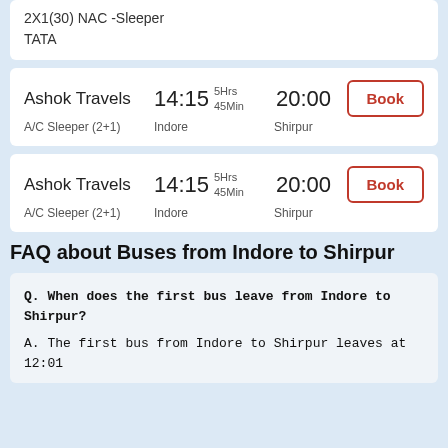2X1(30) NAC -Sleeper
TATA
Ashok Travels  14:15  5Hrs 45Min  20:00
A/C Sleeper (2+1)  Indore  Shirpur  Book
Ashok Travels  14:15  5Hrs 45Min  20:00
A/C Sleeper (2+1)  Indore  Shirpur  Book
FAQ about Buses from Indore to Shirpur
Q. When does the first bus leave from Indore to Shirpur?

A. The first bus from Indore to Shirpur leaves at 12:01